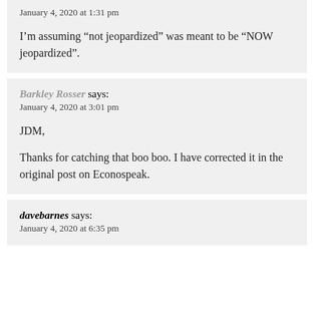January 4, 2020 at 1:31 pm
I’m assuming “not jeopardized” was meant to be “NOW jeopardized”.
Barkley Rosser says:
January 4, 2020 at 3:01 pm
JDM,
Thanks for catching that boo boo. I have corrected it in the original post on Econospeak.
davebarnes says:
January 4, 2020 at 6:35 pm